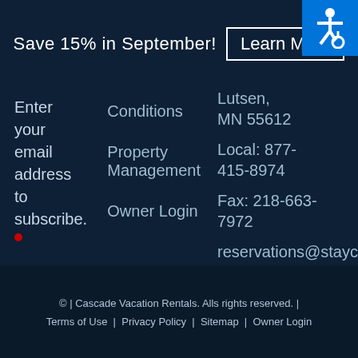Save 15% in September! Learn More
Enter your email address to subscribe.
Conditions
Property Management
Owner Login
Lutsen, MN 55612
Local: 877-415-8974
Fax: 218-663-7972
reservations@stayc
© | Cascade Vacation Rentals. Alls rights reserved. | Terms of Use | Privacy Policy | Sitemap | Owner Login